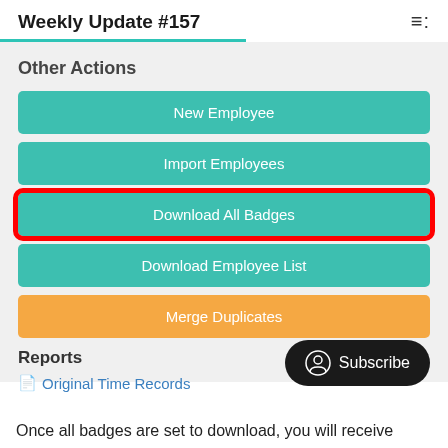Weekly Update #157
Other Actions
[Figure (screenshot): UI panel showing action buttons: New Employee, Import Employees, Download All Badges (highlighted with red border), Download Employee List (teal buttons), Merge Duplicates (orange button), Reports section with Original Time Records link, and a Subscribe button overlay.]
Once all badges are set to download, you will receive